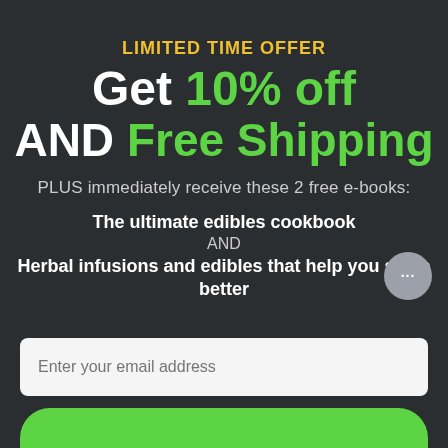LIMITED TIME OFFER
Get 10% off AND Free Shipping
PLUS immediately receive these 2 free e-books:
The ultimate edibles cookbook AND Herbal infusions and edibles that help you sleep better
Enter your email address